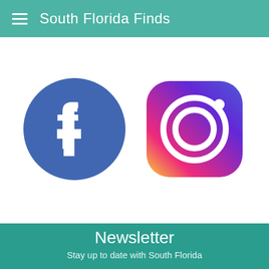South Florida Finds
[Figure (logo): Facebook logo - blue circle with white lowercase f]
[Figure (logo): Instagram logo - rounded square with gradient from yellow to pink to purple, white camera outline]
Newsletter
Stay up to date with South Florida